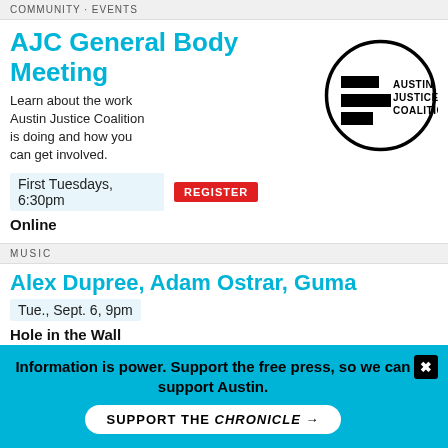COMMUNITY EVENTS
AJC General Body Meeting
Learn about the work Austin Justice Coalition is doing and how you can get involved.
First Tuesdays, 6:30pm  REGISTER
Online
[Figure (logo): Austin Justice Coalition circular logo with black and white design and text AUSTIN JUSTICE COALITION]
MUSIC
Alex Dupree, Adam Ostrar, Guma
Tue., Sept. 6, 9pm
Hole in the Wall
MUSIC
Andrew Lopez
Tue., Sept. 6, 8pm
Speakeasy
Information is power. Support the free press, so we can support Austin.
SUPPORT THE CHRONICLE →